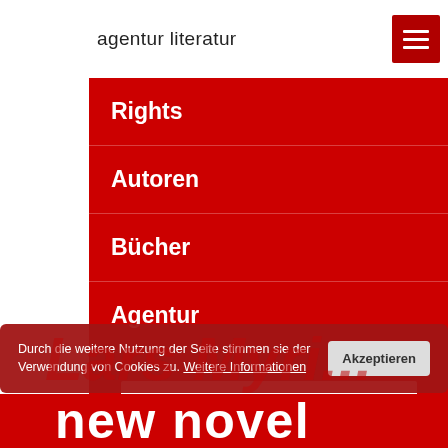agentur literatur
Rights
Autoren
Bücher
Agentur
Suchen
Durch die weitere Nutzung der Seite stimmen sie der Verwendung von Cookies zu. Weitere Informationen
Akzeptieren
new novel